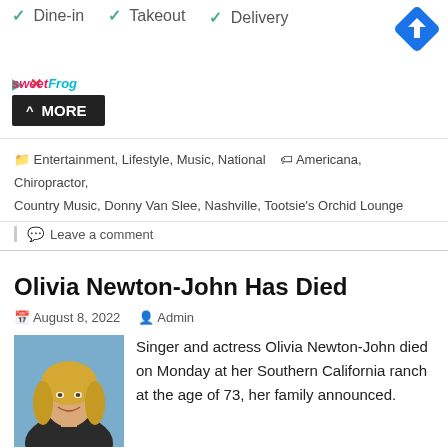[Figure (screenshot): Advertisement banner showing Dine-in, Takeout, Delivery checkmarks, sweetFrog logo, and Google Maps navigation icon]
Entertainment, Lifestyle, Music, National   Americana, Chiropractor, Country Music, Donny Van Slee, Nashville, Tootsie's Orchid Lounge
Leave a comment
Olivia Newton-John Has Died
August 8, 2022   Admin
[Figure (photo): Photo of Olivia Newton-John, a blonde woman smiling]
Singer and actress Olivia Newton-John died on Monday at her Southern California ranch at the age of 73, her family announced.
"Olivia has been a symbol of triumphs and hope for over 30 years sharing her journey with breast cancer. Her healing